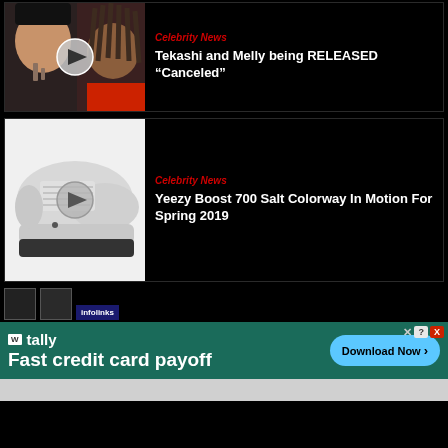[Figure (screenshot): Video thumbnail showing two people – one with face tattoos, one with dreadlocks – with a play button overlay on black background]
Celebrity News
Tekashi and Melly being RELEASED “Canceled”
[Figure (screenshot): Video thumbnail showing a Yeezy Boost 700 Salt colorway sneaker (gray/white) with a play button overlay]
Celebrity News
Yeezy Boost 700 Salt Colorway In Motion For Spring 2019
[Figure (screenshot): Infolinks ad widget with two small image boxes and infolinks logo badge]
[Figure (screenshot): Tally app advertisement banner: Fast credit card payoff – Download Now button on teal background]